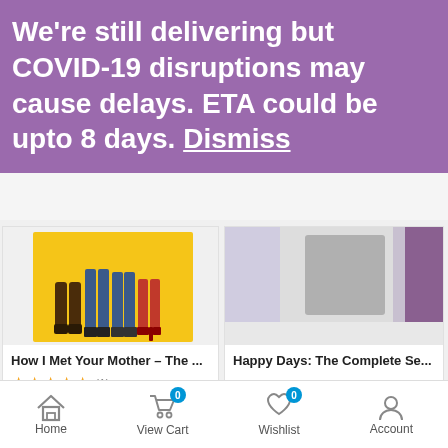We're still delivering but COVID-19 disruptions may cause delays. ETA could be upto 8 days. Dismiss
[Figure (screenshot): Product image for How I Met Your Mother - The complete series DVD box set on yellow background showing people's legs]
How I Met Your Mother – The ...
★★★★★ (1)
$109.95
[Figure (screenshot): Product image for Happy Days: The Complete Series DVD set]
Happy Days: The Complete Se...
☆☆☆☆☆ (1)
$97.75
Home   View Cart   Wishlist   Account